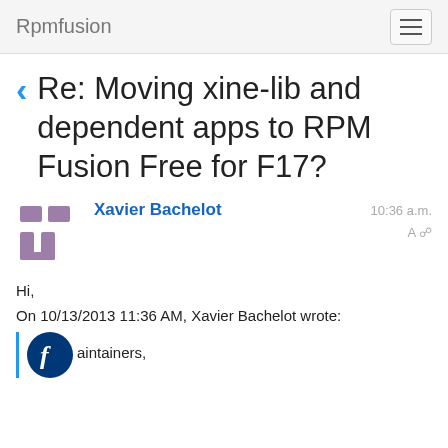Rpmfusion
Re: Moving xine-lib and dependent apps to RPM Fusion Free for F17?
Xavier Bachelot   10:36 a.m.   A %
Hi,
On 10/13/2013 11:36 AM, Xavier Bachelot wrote:
aintainers,